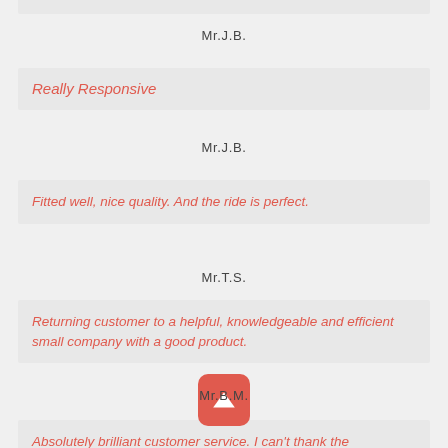Mr.J.B.
Really Responsive
Mr.J.B.
Fitted well, nice quality. And the ride is perfect.
Mr.T.S.
Returning customer to a helpful, knowledgeable and efficient small company with a good product.
Mr.B.M.
Absolutely brilliant customer service. I can't thank the